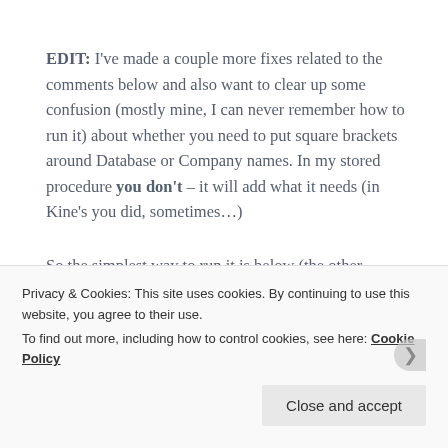EDIT: I've made a couple more fixes related to the comments below and also want to clear up some confusion (mostly mine, I can never remember how to run it) about whether you need to put square brackets around Database or Company names. In my stored procedure you don't – it will add what it needs (in Kine's you did, sometimes…)
So the simplest way to run it is below (the other parameters are optional, don't use them unless you can
Privacy & Cookies: This site uses cookies. By continuing to use this website, you agree to their use.
To find out more, including how to control cookies, see here: Cookie Policy
Close and accept